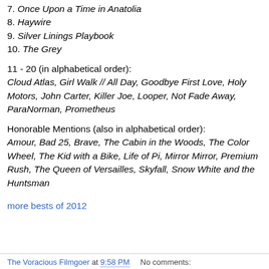7. Once Upon a Time in Anatolia
8. Haywire
9. Silver Linings Playbook
10. The Grey
11 - 20 (in alphabetical order): Cloud Atlas, Girl Walk // All Day, Goodbye First Love, Holy Motors, John Carter, Killer Joe, Looper, Not Fade Away, ParaNorman, Prometheus
Honorable Mentions (also in alphabetical order): Amour, Bad 25, Brave, The Cabin in the Woods, The Color Wheel, The Kid with a Bike, Life of Pi, Mirror Mirror, Premium Rush, The Queen of Versailles, Skyfall, Snow White and the Huntsman
more bests of 2012
The Voracious Filmgoer at 9:58 PM    No comments: